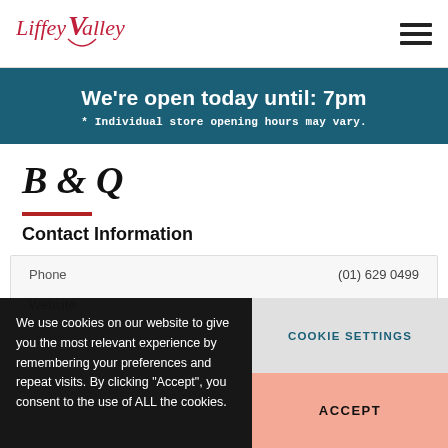Liffey Valley
We're open today until: 7pm
* Individual store opening hours may vary.
B & Q
Contact Information
|  |  |
| --- | --- |
| Phone | (01) 629 0499 |
| Website |  |
| Address | Fonthill Road, Dublin 22 |
We use cookies on our website to give you the most relevant experience by remembering your preferences and repeat visits. By clicking “Accept”, you consent to the use of ALL the cookies.